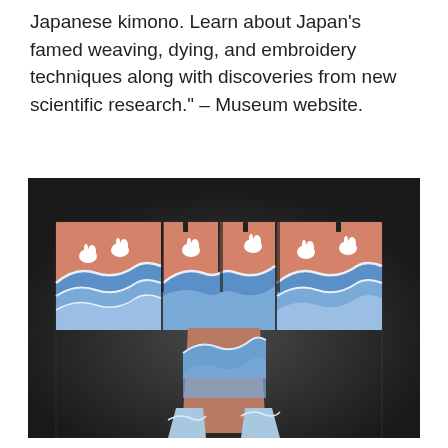Japanese kimono. Learn about Japan's famed weaving, dying, and embroidery techniques along with discoveries from new scientific research." – Museum website.
[Figure (photo): A historical Japanese kimono displayed flat against a dark background. The kimono features a salmon/coral pink upper body decorated with white rabbits leaping over stylized blue and white ocean waves. The lower body and sleeves show the blue wave pattern continuing. The garment appears aged and worn.]